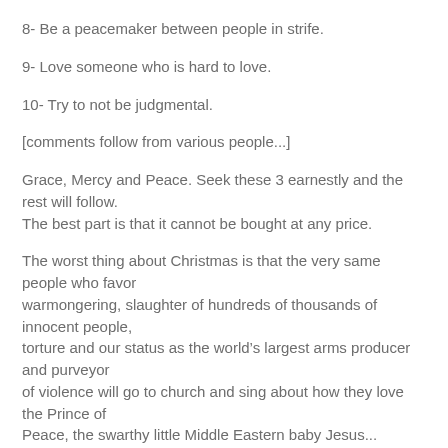8- Be a peacemaker between people in strife.
9- Love someone who is hard to love.
10- Try to not be judgmental.
[comments follow from various people...]
Grace, Mercy and Peace. Seek these 3 earnestly and the rest will follow.
The best part is that it cannot be bought at any price.
The worst thing about Christmas is that the very same people who favor warmongering, slaughter of hundreds of thousands of innocent people, torture and our status as the world’s largest arms producer and purveyor of violence will go to church and sing about how they love the Prince of Peace, the swarthy little Middle Eastern baby Jesus...